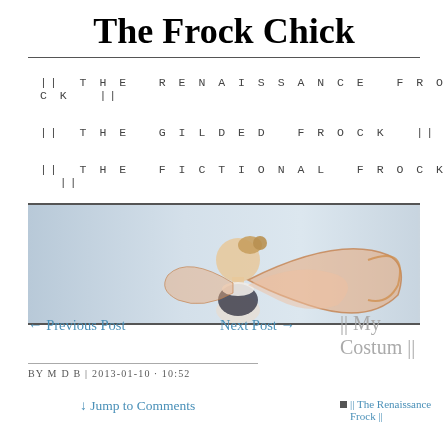The Frock Chick
|| THE RENAISSANCE FROCK ||
|| THE GILDED FROCK ||
|| THE FICTIONAL FROCK ||
[Figure (illustration): A banner illustration of a fairy or decorative figure with butterfly/fairy wings in pink and gold tones, facing left, on a pale blue-grey background.]
← Previous Post
Next Post →
|| My Costum ||
BY M D B | 2013-01-10 · 10:52
↓ Jump to Comments
|| The Renaissance Frock ||